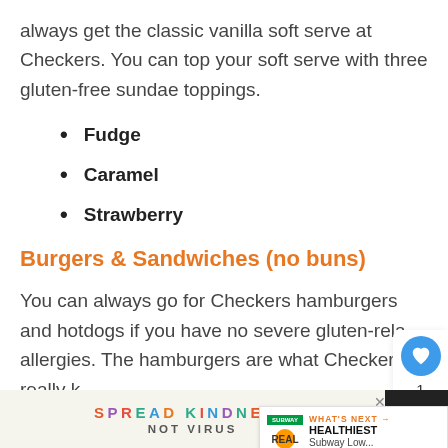always get the classic vanilla soft serve at Checkers. You can top your soft serve with three gluten-free sundae toppings.
Fudge
Caramel
Strawberry
Burgers & Sandwiches (no buns)
You can always go for Checkers hamburgers and hotdogs if you have no severe gluten-rela… allergies. The hamburgers are what Checkers is really k…
[Figure (other): Spread Kindness Not Virus advertisement banner at the bottom of the page]
[Figure (other): What's Next widget showing Healthiest Subway Low… article]